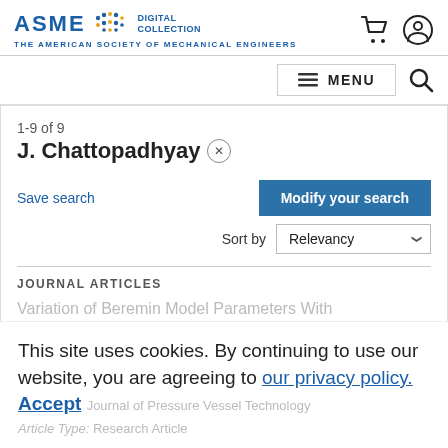ASME DIGITAL COLLECTION — THE AMERICAN SOCIETY OF MECHANICAL ENGINEERS
1-9 of 9
J. Chattopadhyay ×
Save search
Modify your search
Sort by Relevancy
JOURNAL ARTICLES
Variation of Beremin Model Parameters With
This site uses cookies. By continuing to use our website, you are agreeing to our privacy policy. Accept
Journal of Pressure Vessel Technology
Article Type: Research Article